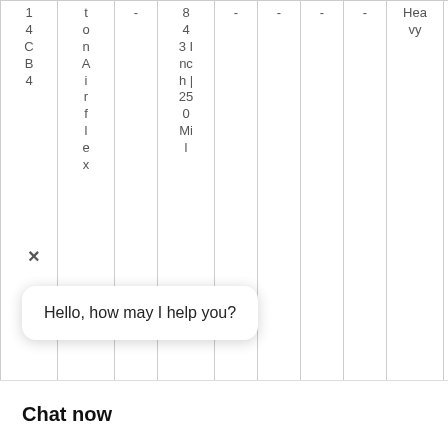| 14CB4 | tonAirflex | - | 84 3 Inch | 250 Mil | - | - | - | - | Heavy | - |
| 18CB5 | EatonAirfl | - | - | - | - | - | - | - | - |
[Figure (logo): WhatsApp green circle logo with phone icon, labeled 'WhatsApp Online']
Hello, how may I help you?
Chat now